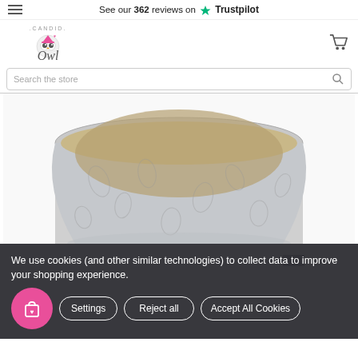See our 362 reviews on ★ Trustpilot
[Figure (logo): Candid Owl store logo — stylized owl illustration with .CANDID. text above and Owl in italic script below]
Search the store
[Figure (photo): A lampshade with grey and white floral/botanical pattern on exterior and gold/champagne interior, viewed from above at an angle, showing the inside of the shade]
We use cookies (and other similar technologies) to collect data to improve your shopping experience.
Settings | Reject all | Accept All Cookies